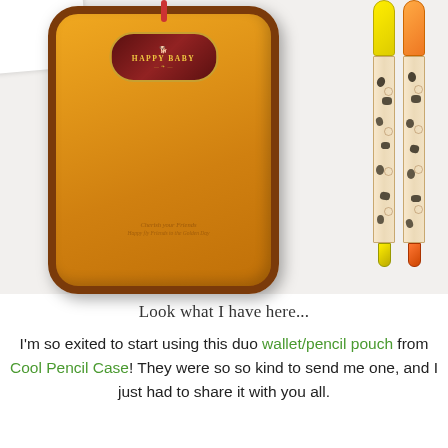[Figure (photo): An orange/yellow faux leather pencil case with a dark brown oval badge reading 'Happy Baby' on a white background, with two patterned markers (yellow-capped and orange-capped) standing to the right.]
Look what I have here...
I'm so exited to start using this duo wallet/pencil pouch from Cool Pencil Case! They were so so kind to send me one, and I just had to share it with you all.